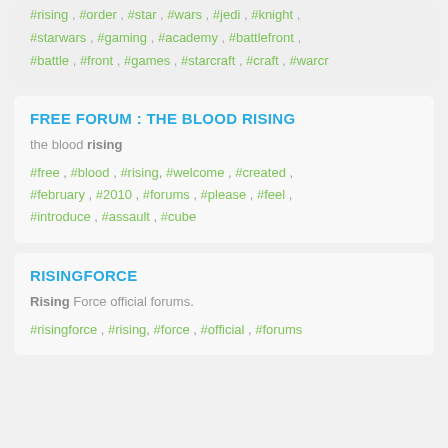#rising, #order, #star, #wars, #jedi, #knight, #starwars, #gaming, #academy, #battlefront, #battle, #front, #games, #starcraft, #craft, #warcr
FREE FORUM : THE BLOOD RISING
the blood rising
#free, #blood, #rising, #welcome, #created, #february, #2010, #forums, #please, #feel, #introduce, #assault, #cube
RISINGFORCE
Rising Force official forums.
#risingforce, #rising, #force, #official, #forums